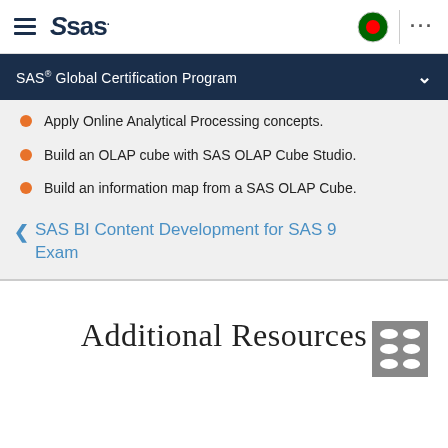SAS Global Certification Program
Apply Online Analytical Processing concepts.
Build an OLAP cube with SAS OLAP Cube Studio.
Build an information map from a SAS OLAP Cube.
SAS BI Content Development for SAS 9 Exam
Additional Resources